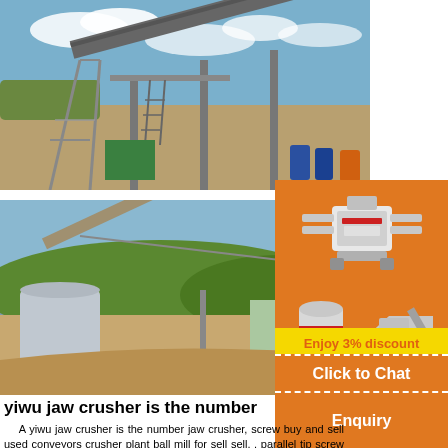[Figure (photo): Industrial conveyor belt and crusher plant infrastructure with steel framework against a blue sky with clouds]
[Figure (photo): Mining facility with conveyor belt, storage silos and green hills in background]
[Figure (illustration): Orange sidebar showing crusher and mill machinery illustrations with discount and chat buttons]
yiwu jaw crusher is the number
A yiwu jaw crusher is the number jaw crusher, screw buy and sell used conveyors crusher plant ball mill for sell sell. . parallel tip screw driver grind